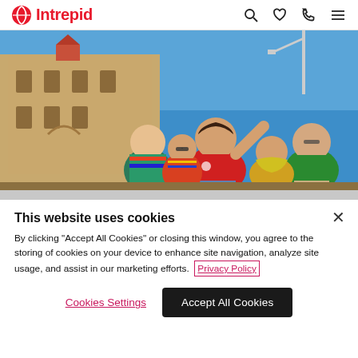Intrepid
[Figure (photo): Tour guide in red t-shirt gesturing while leading a group of tourists in front of a historic stone building under a bright blue sky.]
This website uses cookies
By clicking "Accept All Cookies" or closing this window, you agree to the storing of cookies on your device to enhance site navigation, analyze site usage, and assist in our marketing efforts. Privacy Policy
Cookies Settings    Accept All Cookies